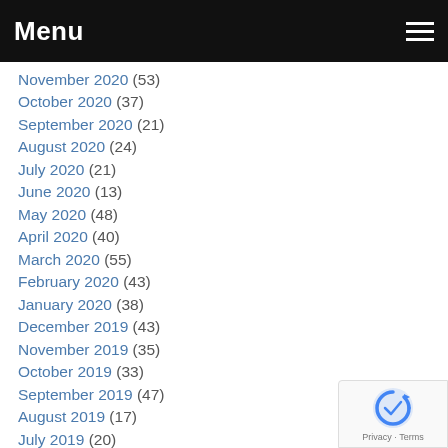Menu
November 2020 (53)
October 2020 (37)
September 2020 (21)
August 2020 (24)
July 2020 (21)
June 2020 (13)
May 2020 (48)
April 2020 (40)
March 2020 (55)
February 2020 (43)
January 2020 (38)
December 2019 (43)
November 2019 (35)
October 2019 (33)
September 2019 (47)
August 2019 (17)
July 2019 (20)
June 2019 (18)